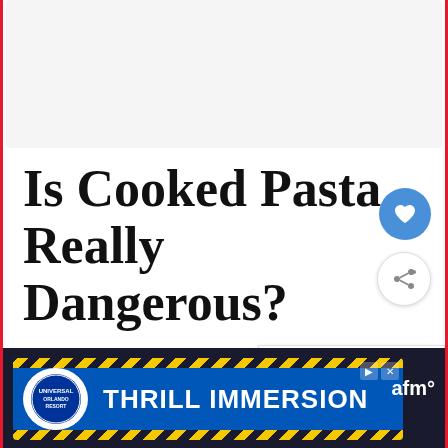[Figure (other): Top advertisement placeholder area, light gray background]
Is Cooked Pasta Really Dangerous?
Mandatory refrigeration – Nev
[Figure (other): What's Next widget showing a dish of mashed/pasta food with text 'WHAT'S NEXT → What happens if you eat...']
[Figure (other): Universal Orlando Resort THRILL IMMERSION advertisement banner at bottom of page]